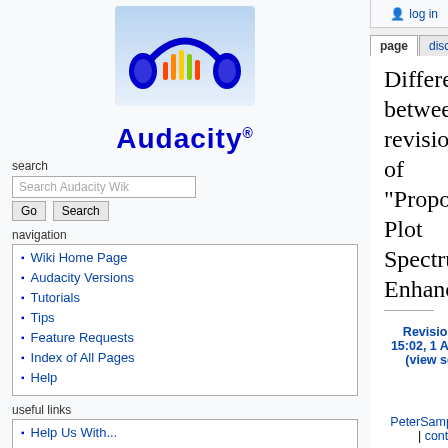log in
page | discussion | view source | history
[Figure (logo): Audacity logo with blue headphones and colorful waveform]
search
Search Audacity Wik  Go  Search
navigation
Wiki Home Page
Audacity Versions
Tutorials
Tips
Feature Requests
Index of All Pages
Help
useful links
Help Us With...
Bug Counts
Difference between revisions of "Proposal Plot Spectrum Enhancements"
| Revision as of 15:02, 1 April 2013 (view source) | Latest revision as of 13:04, 14 March 2019 (view source) |
| --- | --- |
| PeterSampson (talk | contribs) | PeterSampson (talk | contribs) |
| (See also this [http://forum.audacityteam.org/viewtopic.php?f=20&t=70531 forum thread].) | (→Developer/QA Backing: added my support) |
| ← Older edit |  |
(2 intermediate revisions by the same user not shown)